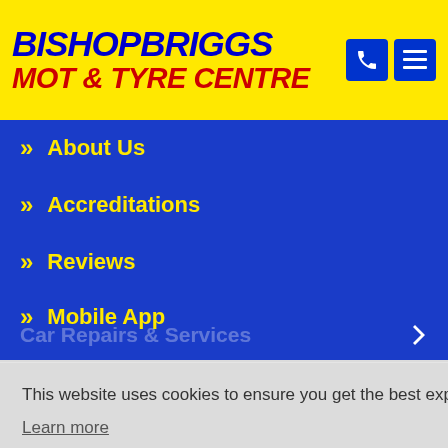BISHOPBRIGGS MOT & TYRE CENTRE
About Us
Accreditations
Reviews
Mobile App
Payment Assist
Contact Us
Car Repairs & Services
Car Servicing
This website uses cookies to ensure you get the best experience on our website.
Learn more
Accept and continue